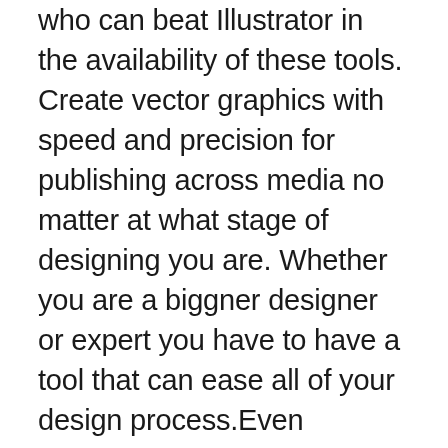who can beat Illustrator in the availability of these tools. Create vector graphics with speed and precision for publishing across media no matter at what stage of designing you are. Whether you are a biggner designer or expert you have to have a tool that can ease all of your design process.Even Sketches can be design like art work done on the paper, after design process you can then transform it to the chart for printing. Even you can scan ant old painting and do the rest editing after so many years.